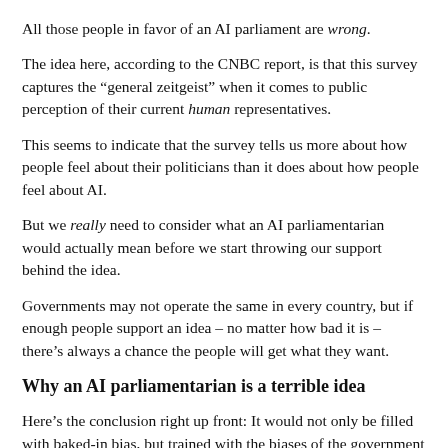All those people in favor of an AI parliament are wrong.
The idea here, according to the CNBC report, is that this survey captures the “general zeitgeist” when it comes to public perception of their current human representatives.
This seems to indicate that the survey tells us more about how people feel about their politicians than it does about how people feel about AI.
But we really need to consider what an AI parliamentarian would actually mean before we start throwing our support behind the idea.
Governments may not operate the same in every country, but if enough people support an idea – no matter how bad it is – there’s always a chance the people will get what they want.
Why an AI parliamentarian is a terrible idea
Here’s the conclusion right up front: It would not only be filled with baked-in bias, but trained with the biases of the government implementing it. Furthermore, any applicable AI technology in this domain would be considered “black box” AI, and thus it would be